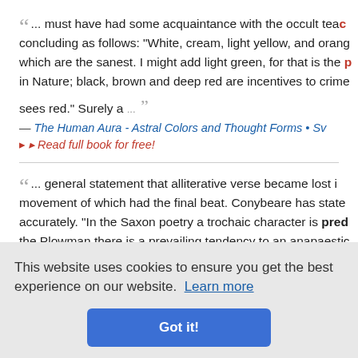... must have had some acquaintance with the occult tea... concluding as follows: "White, cream, light yellow, and orang... which are the sanest. I might add light green, for that is the p... in Nature; black, brown and deep red are incentives to crime... sees red." Surely a ...
— The Human Aura - Astral Colors and Thought Forms • Sw...
▸ Read full book for free!
... general statement that alliterative verse became lost i... movement of which had the final beat. Conybeare has state... accurately. "In the Saxon poetry a trochaic character is predominant... the Plowman there is a prevailing tendency to an anapaestic... result of a change in the language — the loss of inflexion. Tak... ; in Engli...
This website uses cookies to ensure you get the best experience on our website. Learn more
Got it!
... in war-time in Missouri and West Virginia, strict test oath... Confederates from office, from the polls, and from the profes...